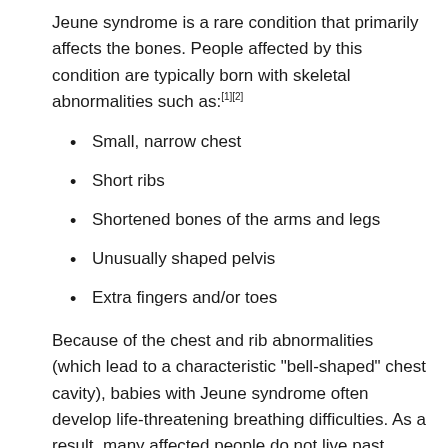Jeune syndrome is a rare condition that primarily affects the bones. People affected by this condition are typically born with skeletal abnormalities such as:[1][2]
Small, narrow chest
Short ribs
Shortened bones of the arms and legs
Unusually shaped pelvis
Extra fingers and/or toes
Because of the chest and rib abnormalities (which lead to a characteristic "bell-shaped" chest cavity), babies with Jeune syndrome often develop life-threatening breathing difficulties. As a result, many affected people do not live past infancy or early childhood.[1]